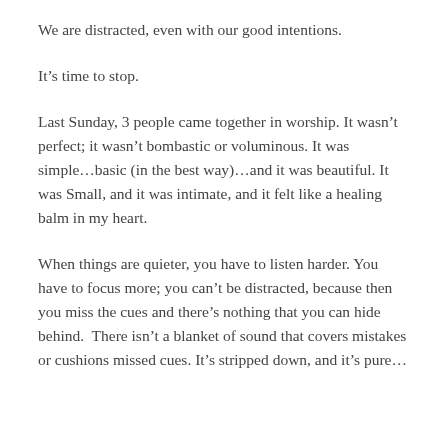We are distracted, even with our good intentions.
It’s time to stop.
Last Sunday, 3 people came together in worship. It wasn’t perfect; it wasn’t bombastic or voluminous. It was simple…basic (in the best way)…and it was beautiful. It was Small, and it was intimate, and it felt like a healing balm in my heart.
When things are quieter, you have to listen harder. You have to focus more; you can’t be distracted, because then you miss the cues and there’s nothing that you can hide behind.  There isn’t a blanket of sound that covers mistakes or cushions missed cues. It’s stripped down, and it’s pure…